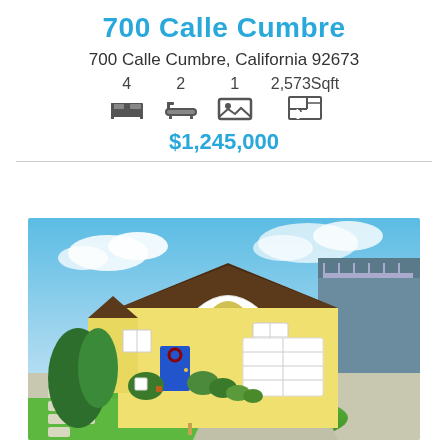700 Calle Cumbre
700 Calle Cumbre, California 92673
4  2  1  2,573Sqft (with icons for bed, bath, photo, floor plan)
$1,245,000
[Figure (photo): Exterior photo of a single-story yellow house with white garage door, blue front door, landscaped front yard with green lawn and stepping stone path, under a blue sky with clouds.]